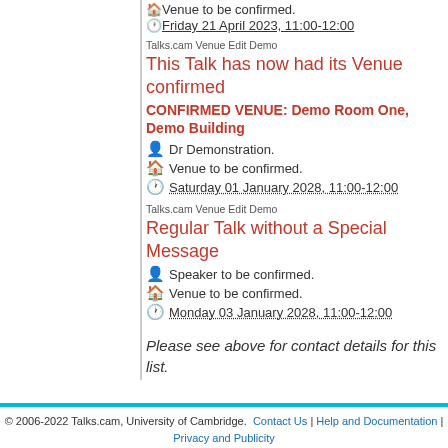🏠 Venue to be confirmed.
🕐 Friday 21 April 2023, 11:00-12:00
Talks.cam Venue Edit Demo
This Talk has now had its Venue confirmed
CONFIRMED VENUE: Demo Room One, Demo Building
👤 Dr Demonstration.
🏠 Venue to be confirmed.
🕐 Saturday 01 January 2028, 11:00-12:00
Talks.cam Venue Edit Demo
Regular Talk without a Special Message
👤 Speaker to be confirmed.
🏠 Venue to be confirmed.
🕐 Monday 03 January 2028, 11:00-12:00
Please see above for contact details for this list.
© 2006-2022 Talks.cam, University of Cambridge. Contact Us | Help and Documentation | Privacy and Publicity